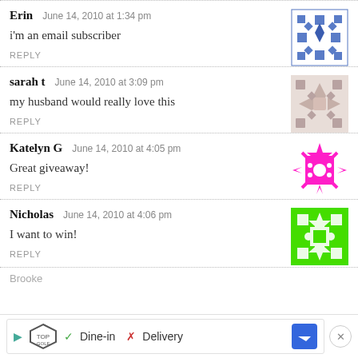Erin   June 14, 2010 at 1:34 pm
i'm an email subscriber
REPLY
sarah t   June 14, 2010 at 3:09 pm
my husband would really love this
REPLY
Katelyn G   June 14, 2010 at 4:05 pm
Great giveaway!
REPLY
Nicholas   June 14, 2010 at 4:06 pm
I want to win!
REPLY
Brooke
[Figure (other): Advertisement bar: TopGolf logo, Dine-in checkmark, Delivery X mark, blue direction arrow icon, close button]